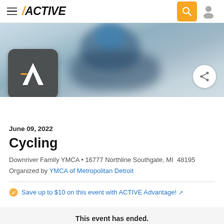ACTIVE
[Figure (screenshot): Hero banner showing blurred cyclist in blue helmet against gray/blue background with Active logo badge overlay]
June 09, 2022
Cycling
Downriver Family YMCA • 16777 Northline Southgate, MI  48195
Organized by YMCA of Metropolitan Detroit
Save up to $10 on this event with ACTIVE Advantage!
This event has ended.